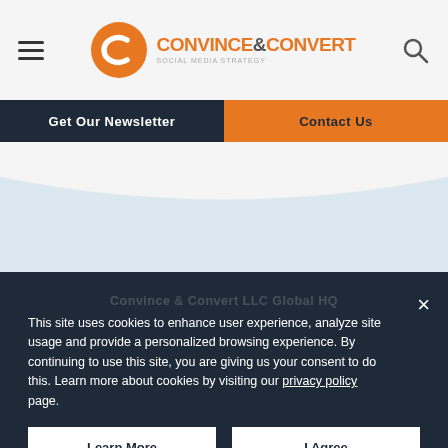Convince & Convert — navigation header with hamburger menu, logo, and search icon
[Figure (screenshot): Convince & Convert website header with orange C logo and brand name, hamburger menu on left, search icon on right]
Get Our Newsletter
Contact Us
[Figure (illustration): Light blue wave background area]
This site uses cookies to enhance user experience, analyze site usage and provide a personalized browsing experience. By continuing to use this site, you are giving us your consent to do this. Learn more about cookies by visiting our privacy policy page.
Learn More
I Agree
Convince & Convert LLC Global HQ Phoenix, AZ 85012